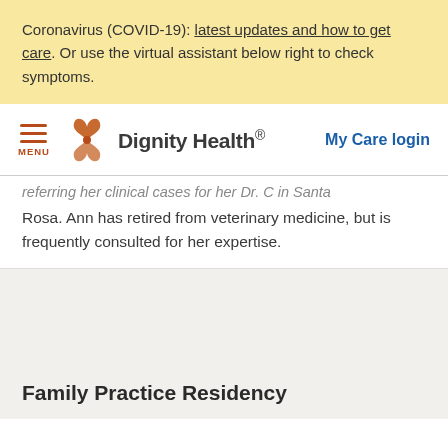Coronavirus (COVID-19): latest updates and how to get care. Or use the virtual assistant below right to check symptoms.
[Figure (logo): Dignity Health logo with orange flower/butterfly icon and text 'Dignity Health.' with navigation menu icon and 'My Care login' link]
...referring her clinical cases for her Dr. C in Santa Rosa. Ann has retired from veterinary medicine, but is frequently consulted for her expertise.
Family Practice Residency